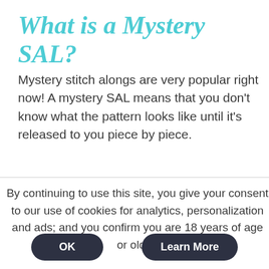What is a Mystery SAL?
Mystery stitch alongs are very popular right now! A mystery SAL means that you don’t know what the pattern looks like until it’s released to you piece by piece.
By continuing to use this site, you give your consent to our use of cookies for analytics, personalization and ads; and you confirm you are 18 years of age or older.
OK
Learn More